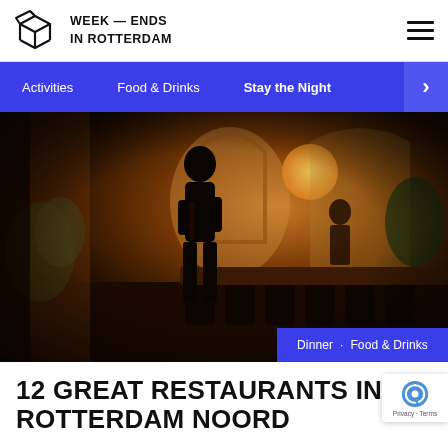WEEK — ENDS IN ROTTERDAM
Activities
Food & Drinks
Stay the Night
[Figure (photo): Interior of a Rotterdam restaurant with a silhouetted waiter walking through a warmly lit space with plants, arched windows, and bar seating. A blue overlay tag reads 'Dinner · Food & Drinks'.]
12 GREAT RESTAURANTS IN ROTTERDAM NOORD